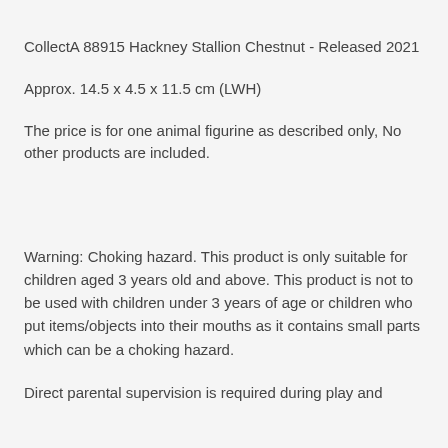CollectA 88915 Hackney Stallion Chestnut - Released 2021
Approx. 14.5 x 4.5 x 11.5 cm (LWH)
The price is for one animal figurine as described only, No other products are included.
Warning: Choking hazard. This product is only suitable for children aged 3 years old and above. This product is not to be used with children under 3 years of age or children who put items/objects into their mouths as it contains small parts which can be a choking hazard.
Direct parental supervision is required during play and